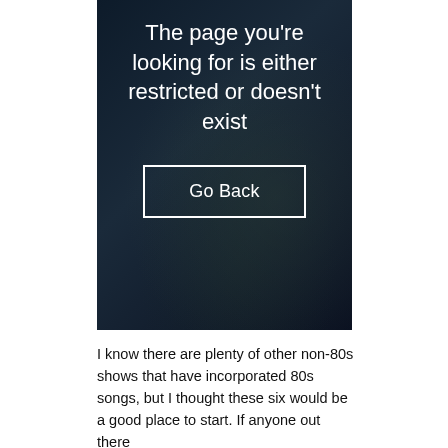[Figure (screenshot): A dark-themed error page panel with text 'The page you're looking for is either restricted or doesn't exist' and a 'Go Back' button with white border on a dark navy background.]
I know there are plenty of other non-80s shows that have incorporated 80s songs, but I thought these six would be a good place to start. If anyone out there